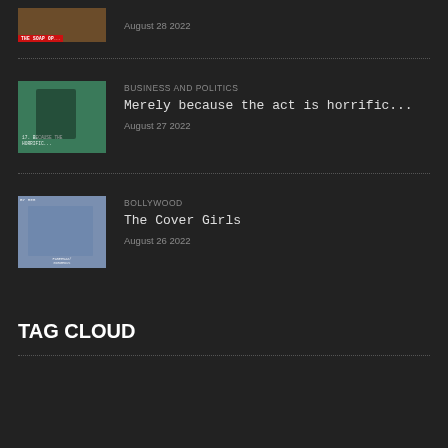[Figure (photo): Thumbnail image for The Soap Opera article, partially visible at top]
August 28 2022
[Figure (photo): Thumbnail image for 'Merely because the act is horrific...' article, green/black photo]
BUSINESS AND POLITICS
Merely because the act is horrific...
August 27 2022
[Figure (photo): Thumbnail for The Cover Girls article, showing a woman in blue/teal tones]
BOLLYWOOD
The Cover Girls
August 26 2022
TAG CLOUD